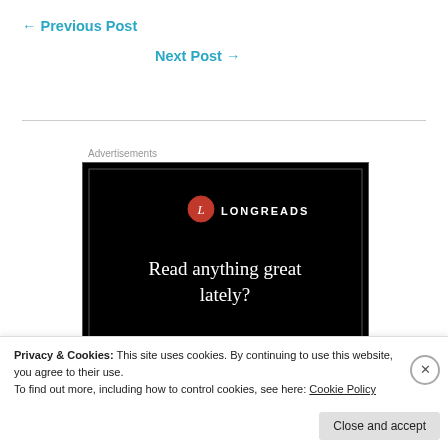← Previous Post
Next Post →
[Figure (illustration): Longreads advertisement banner with black background, red circle L logo, LONGREADS text, and tagline 'Read anything great lately?']
Privacy & Cookies: This site uses cookies. By continuing to use this website, you agree to their use.
To find out more, including how to control cookies, see here: Cookie Policy